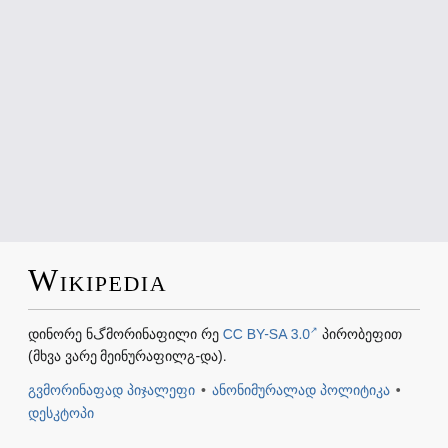Wikipedia
დინორე ნگმორინაფილი რე CC BY-SA 3.0 პირობეფით (მხვა ვარე მეინურაფილგ-და).
გვმორინაფად პიჯალეფი • ანონიმურალად პოლიტიკა • დესკტოპი